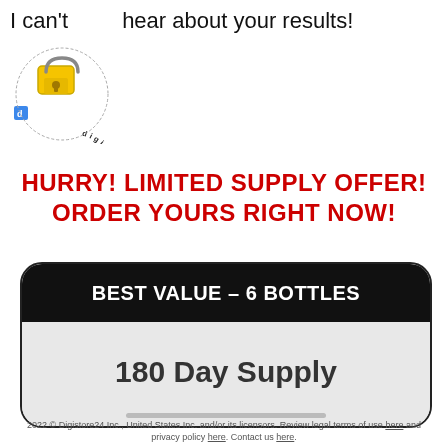I can't wait to hear about your results!
[Figure (logo): Digistore24 Secure Order badge with padlock icon and circular text reading 'SECURE ORDER']
HURRY! LIMITED SUPPLY OFFER! ORDER YOURS RIGHT NOW!
[Figure (infographic): Product offer card with black rounded header 'BEST VALUE - 6 BOTTLES' and body showing '180 Day Supply' on light grey background]
2022 © Digistore24 Inc., United States Inc. and/or its licensors. Review legal terms of use here and privacy policy here. Contact us here.